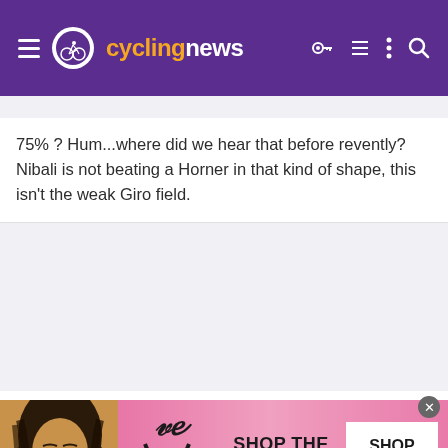cycling news
75% ? Hum...where did we hear that before revently? Nibali is not beating a Horner in that kind of shape, this isn't the weak Giro field.
[Figure (photo): Victoria's Secret advertisement banner with a model, VS logo, text 'SHOP THE COLLECTION' and a 'SHOP NOW' button]